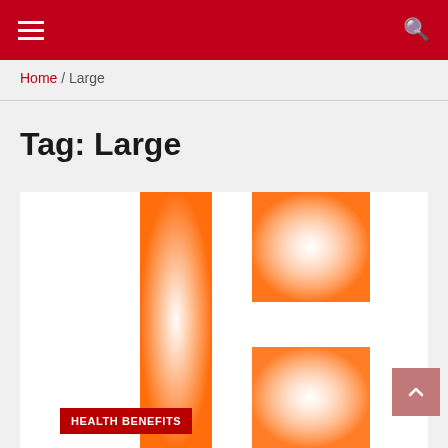Navigation bar with menu and search icons
Home / Large
Tag: Large
[Figure (logo): Partial orange letter or logo graphic on white card background, resembling a stylized bracket or letter E/C shape in orange gradient]
HEALTH BENEFITS